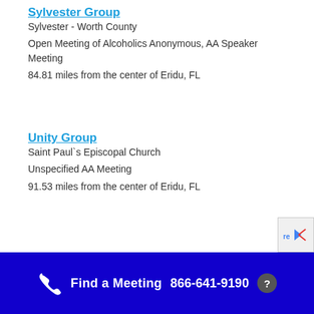Sylvester Group
Sylvester - Worth County
Open Meeting of Alcoholics Anonymous, AA Speaker Meeting
84.81 miles from the center of Eridu, FL
Unity Group
Saint Paul`s Episcopal Church
Unspecified AA Meeting
91.53 miles from the center of Eridu, FL
Find a Meeting  866-641-9190